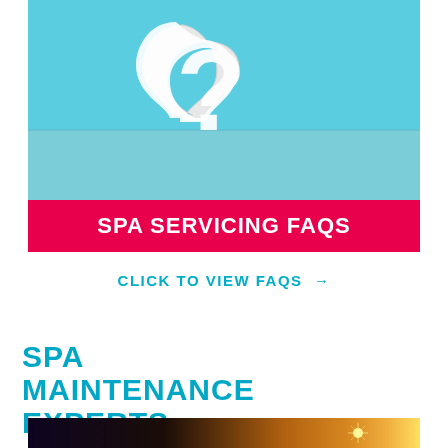[Figure (photo): 3D white question mark on a light blue background with reflection]
SPA SERVICING FAQS
CLICK TO VIEW FAQS →
SPA MAINTENANCE EXPERTS
[Figure (photo): Nighttime outdoor spa/hot tub scene with warm glowing lights among trees]